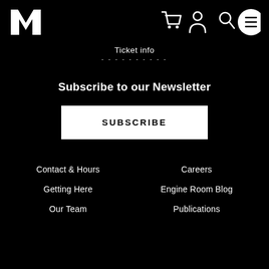[Figure (logo): White M logo (Moogfest or similar museum) top left]
[Figure (infographic): Navigation icons: cart, user/person, search, hamburger menu]
Ticket info
Subscribe to our Newsletter
SUBSCRIBE
Contact & Hours
Careers
Getting Here
Engine Room Blog
Our Team
Publications